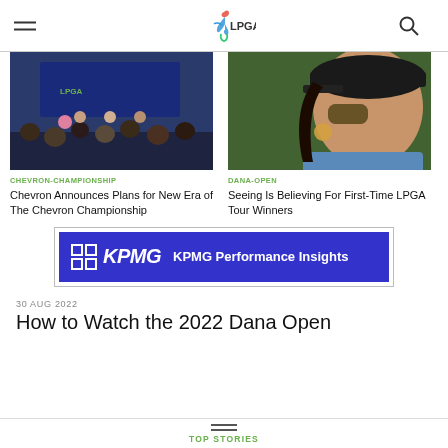LPGA
[Figure (photo): Press conference scene with people seated in audience facing a panel with blue LPGA backdrop]
[Figure (photo): Female golfer wearing sunglasses and black cap, smiling, close-up portrait]
CHEVRON-CHAMPIONSHIP
Chevron Announces Plans for New Era of The Chevron Championship
DANA-OPEN
Seeing Is Believing For First-Time LPGA Tour Winners
[Figure (logo): KPMG Performance Insights advertisement banner with blue background and KPMG logo]
30 AUG 2022
How to Watch the 2022 Dana Open
TOP STORIES